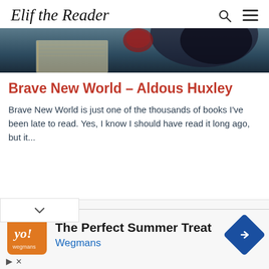Elif the Reader
[Figure (photo): Hero image showing a book and dark background, partial view at top of page]
Brave New World – Aldous Huxley
Brave New World is just one of the thousands of books I've been late to read. Yes, I know I should have read it long ago, but it...
[Figure (infographic): Ad banner for Wegmans: The Perfect Summer Treat with orange logo and navigation arrow icon]